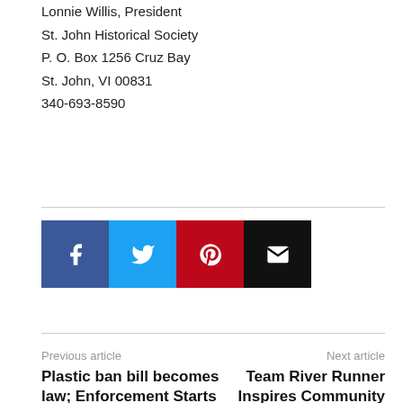Lonnie Willis, President
St. John Historical Society
P. O. Box  1256 Cruz Bay
St. John, VI 00831
340-693-8590
[Figure (infographic): Social sharing buttons: Facebook Like button showing 0 likes, and four social media icon buttons for Facebook (dark blue), Twitter (light blue), Pinterest (red), and Email (black)]
Previous article
Next article
Plastic ban bill becomes law; Enforcement Starts Jan. 1
Team River Runner Inspires Community Involvement during Annual Leadership